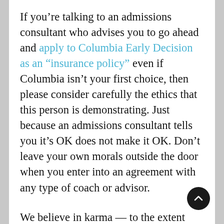If you’re talking to an admissions consultant who advises you to go ahead and apply to Columbia Early Decision as an “insurance policy” even if Columbia isn’t your first choice, then please consider carefully the ethics that this person is demonstrating. Just because an admissions consultant tells you it’s OK does not make it OK. Don’t leave your own morals outside the door when you enter into an agreement with any type of coach or advisor.
We believe in karma — to the extent